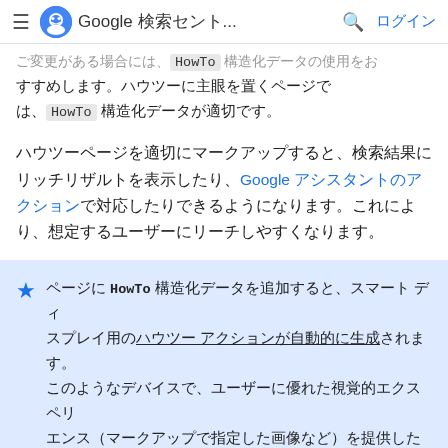≡ Google 検索セント... 🔍 ログイン
ご変更がある場合には、HowTo 構造化データの使用をおすすめします。ハウツーに主眼を置くページでは、HowTo 構造化データが適切です。
ハウツーページを適切にマークアップすると、検索結果にリッチリザルトを表示したり、Google アシスタントのアクションで対応したりできるようになります。これにより、想定するユーザーにリーチしやすくなります。
ページに HowTo 構造化データを追加すると、スマート ディスプレイ用のハウツー アクションが自動的に生成されます。このようなデバイスで、ユーザーに優れた視覚的エクスペリエンス（マークアップで指定した画像など）を提供したいとお考えの場合は、インタレスト フォームにご記入ください。